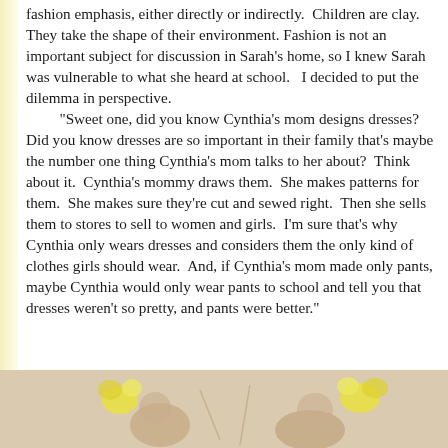fashion emphasis, either directly or indirectly.  Children are clay.  They take the shape of their environment. Fashion is not an important subject for discussion in Sarah's home, so I knew Sarah was vulnerable to what she heard at school.   I decided to put the dilemma in perspective.
   "Sweet one, did you know Cynthia's mom designs dresses?  Did you know dresses are so important in their family that's maybe the number one thing Cynthia's mom talks to her about?  Think about it.  Cynthia's mommy draws them.  She makes patterns for them.  She makes sure they're cut and sewed right.  Then she sells them to stores to sell to women and girls.  I'm sure that's why Cynthia only wears dresses and considers them the only kind of clothes girls should wear.  And, if Cynthia's mom made only pants, maybe Cynthia would only wear pants to school and tell you that dresses weren't so pretty, and pants were better."
[Figure (photo): Partial photograph of two children or figures visible at the bottom of the page, with yellow floral or decorative elements visible against a beige/tan background.]